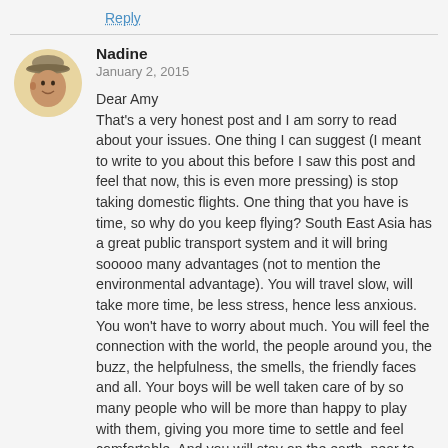Reply
Nadine
January 2, 2015
Dear Amy
That's a very honest post and I am sorry to read about your issues. One thing I can suggest (I meant to write to you about this before I saw this post and feel that now, this is even more pressing) is stop taking domestic flights. One thing that you have is time, so why do you keep flying? South East Asia has a great public transport system and it will bring sooooo many advantages (not to mention the environmental advantage). You will travel slow, will take more time, be less stress, hence less anxious. You won't have to worry about much. You will feel the connection with the world, the people around you, the buzz, the helpfulness, the smells, the friendly faces and all. Your boys will be well taken care of by so many people who will be more than happy to play with them, giving you more time to settle and feel comfortable. And you will stay on the earth, near to gravity, see nature, beautiful landscapes. There are great sleeper trains all over Thailand, many busses, songkrans etc. I hope this helps. Try and overcome this, as your boys feel this too and I am sure they will want their